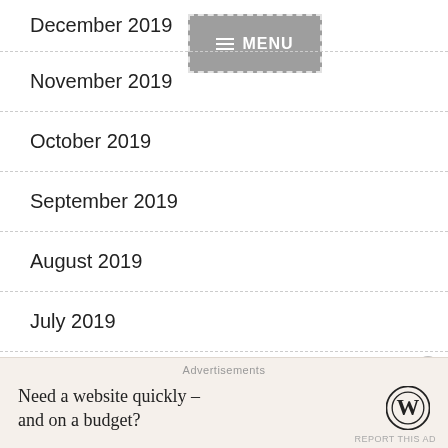[Figure (screenshot): Grey menu button with dashed white border, hamburger icon and MENU text in white]
December 2019
November 2019
October 2019
September 2019
August 2019
July 2019
June 2019
May 2019
April 2019 (partially visible)
Advertisements
Need a website quickly – and on a budget?
REPORT THIS AD